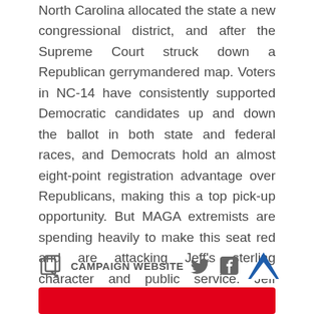North Carolina allocated the state a new congressional district, and after the Supreme Court struck down a Republican gerrymandered map. Voters in NC-14 have consistently supported Democratic candidates up and down the ballot in both state and federal races, and Democrats hold an almost eight-point registration advantage over Republicans, making this a top pick-up opportunity. But MAGA extremists are spending heavily to make this seat red and are attacking Jeff's sterling character and public service. Jeff Jackson must raise at least $4 million to make NC-14 blue.
[Figure (infographic): Row of icons: a copy/link icon followed by 'CAMPAIGN WEBSITE' label, a Twitter bird icon, a Facebook 'f' icon, and a blue chevron/up-arrow icon]
[Figure (other): Red button at the bottom of the page]